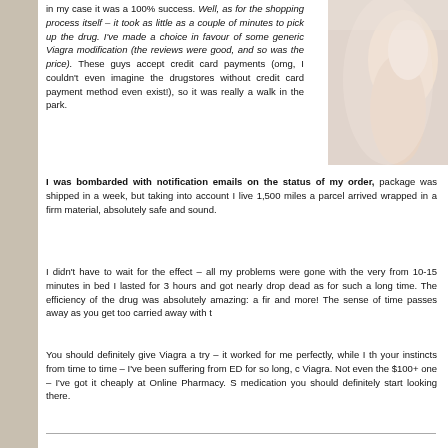in my case it was a 100% success. Well, as for the shopping process itself – it took as little as a couple of minutes to pick up the drug. I've made a choice in favour of some generic Viagra modification (the reviews were good, and so was the price). These guys accept credit card payments (omg, I couldn't even imagine the drugstores without credit card payment method even exist!), so it was really a walk in the park.
[Figure (photo): A person's arm/shoulder area, draped in white fabric, close-up photo]
I was bombarded with notification emails on the status of my order, package was shipped in a week, but taking into account I live 1,500 miles a parcel arrived wrapped in a firm material, absolutely safe and sound.
I didn't have to wait for the effect – all my problems were gone with the very from 10-15 minutes in bed I lasted for 3 hours and got nearly drop dead as for such a long time. The efficiency of the drug was absolutely amazing: a fir and more! The sense of time passes away as you get too carried away with t
You should definitely give Viagra a try – it worked for me perfectly, while I th your instincts from time to time – I've been suffering from ED for so long, c Viagra. Not even the $100+ one – I've got it cheaply at Online Pharmacy. S medication you should definitely start looking there.